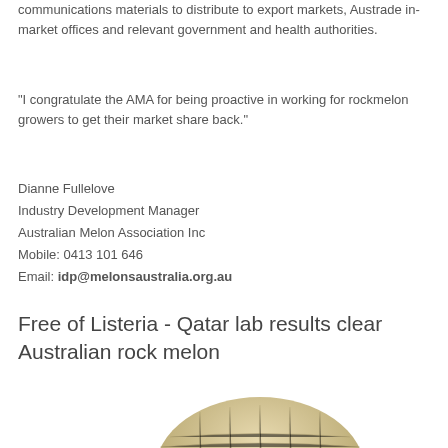communications materials to distribute to export markets, Austrade in-market offices and relevant government and health authorities.
“I congratulate the AMA for being proactive in working for rockmelon growers to get their market share back.”
Dianne Fullelove
Industry Development Manager
Australian Melon Association Inc
Mobile: 0413 101 646
Email: idp@melonsaustralia.org.au
Free of Listeria - Qatar lab results clear Australian rock melon
[Figure (photo): A rockmelon (cantaloupe) with netted skin texture, partially visible at the bottom of the frame against a light background.]